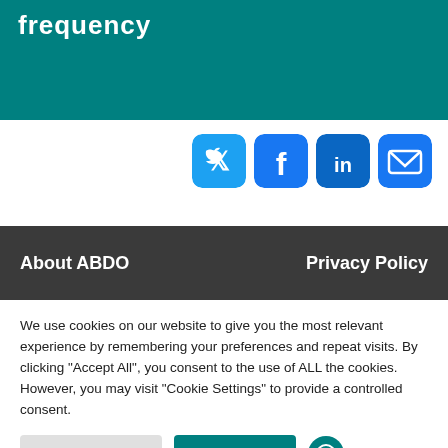frequency
[Figure (other): Social media share icons: Twitter, Facebook, LinkedIn, Email]
About ABDO    Privacy Policy
We use cookies on our website to give you the most relevant experience by remembering your preferences and repeat visits. By clicking "Accept All", you consent to the use of ALL the cookies. However, you may visit "Cookie Settings" to provide a controlled consent.
Cookie Settings   Accept All